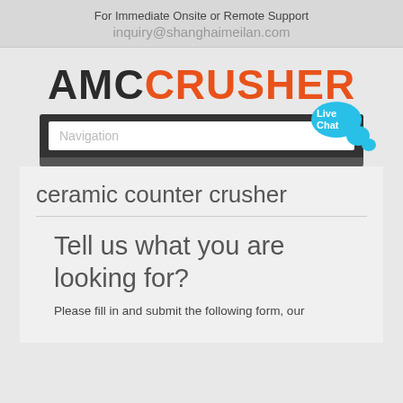For Immediate Onsite or Remote Support
inquiry@shanghaimeilan.com
[Figure (logo): AMC CRUSHER logo with AMC in dark/black and CRUSHER in orange]
Navigation
ceramic counter crusher
Tell us what you are looking for?
Please fill in and submit the following form, our